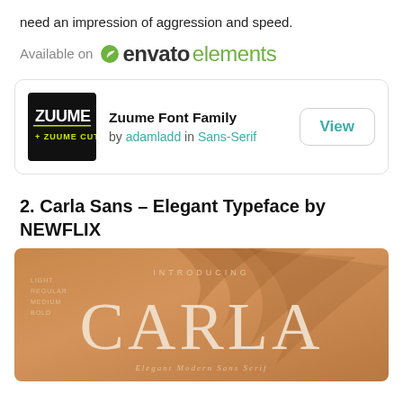need an impression of aggression and speed.
Available on envato elements
[Figure (other): Zuume Font Family product card with logo, author adamladd in Sans-Serif category, and View button]
2. Carla Sans – Elegant Typeface by NEWFLIX
[Figure (illustration): Carla Sans font promotional image on warm orange/tan background with INTRODUCING text and CARLA in large serif letters, Elegant Modern Sans Serif subtitle. Weight list: Light, Regular, Medium, Bold shown on left.]